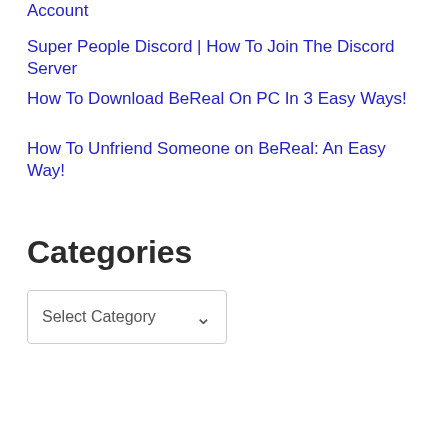Account
Super People Discord | How To Join The Discord Server
How To Download BeReal On PC In 3 Easy Ways!
How To Unfriend Someone on BeReal: An Easy Way!
Categories
Select Category